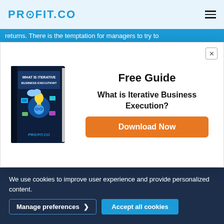PROFIT.CO
returns. There is the temptation for managers to try to
[Figure (screenshot): Modal popup with book image 'What is Iterative Business Execution?' and Free Guide download offer from Profit.co]
conduct checks minimizes the risk of bias, both conscious and unconscious, particularly if that third
We use cookies to improve user experience and provide personalized content.
Manage preferences  Accept all cookies